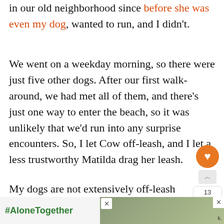in our old neighborhood since before she was even my dog, wanted to run, and I didn't.
We went on a weekday morning, so there were just five other dogs. After our first walk-around, we had met all of them, and there's just one way to enter the beach, so it was unlikely that we'd run into any surprise encounters. So, I let Cow off-leash, and I let a less trustworthy Matilda drag her leash.
My dogs are not extensively off-leash trained. Their recall is great, but like most dogs, they take a while to come if they're distracted.
[Figure (screenshot): Advertisement bar at bottom with #AloneTogether hashtag in green on left, and a photo of people on right with close buttons]